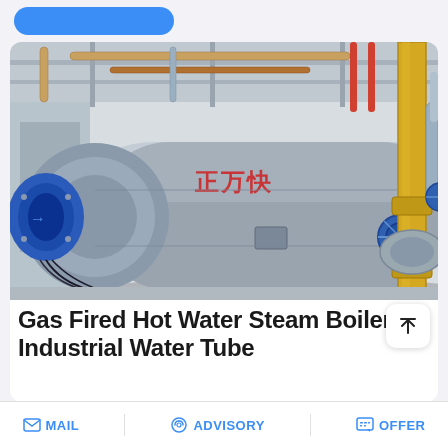[Figure (photo): Industrial gas fired hot water steam boiler installed in a factory setting. A large horizontal cylindrical boiler with Chinese characters on top, a blue burner assembly on the left end, blue valve fittings, and a prominent yellow vertical pipe on the right side. Industrial piping and structural elements visible in the background.]
Gas Fired Hot Water Steam Boiler / Industrial Water Tube
[Figure (screenshot): WhatsApp sticker save banner overlay with purple-to-blue gradient background, showing 'Save Stickers on WhatsApp' text with a green WhatsApp phone icon and a pink ghost emoji icon.]
ed Hot Water Steam Boiler / Boiler Single Drum from China.
MAIL   ADVISORY   OFFER